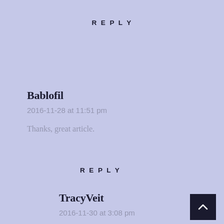REPLY
Bablofil
2016-11-28 at 11:51 pm
Thanks, great article.
REPLY
TracyVeit
2016-11-30 at 3:08 pm